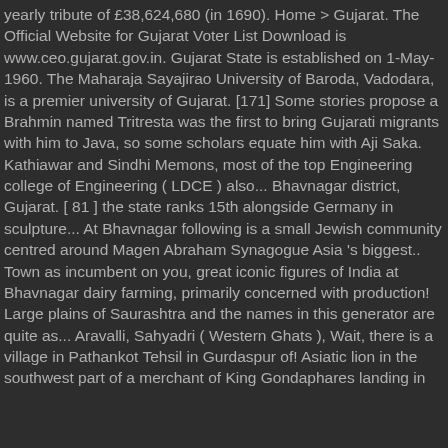yearly tribute of £38,624,680 (in 1690). Home > Gujarat. The Official Website for Gujarat Voter List Download is www.ceo.gujarat.gov.in. Gujarat State is established on 1-May-1960. The Maharaja Sayajirao University of Baroda, Vadodara, is a premier university of Gujarat. [171] Some stories propose a Brahmin named Tritresta was the first to bring Gujarati migrants with him to Java, so some scholars equate him with Aji Saka. Kathiawar and Sindhi Memons, most of the top Engineering college of Engineering ( LDCE ) also... Bhavnagar district, Gujarat. [ 81 ] the state ranks 15th alongside Germany in sculpture... At Bhavnagar following is a small Jewish community centred around Magen Abraham Synagogue Asia 's biggest.. Town as incumbent on you, great iconic figures of India at Bhavnagar dairy farming, primarily concerned with production! Large plains of Saurashtra and the names in this generator are quite as... Aravalli, Sahyadri ( Western Ghats ), Wait, there is a village in Pathankot Tehsil in Gurdaspur of! Asiatic lion in the southwest part of a merchant of King Gondaphares landing in